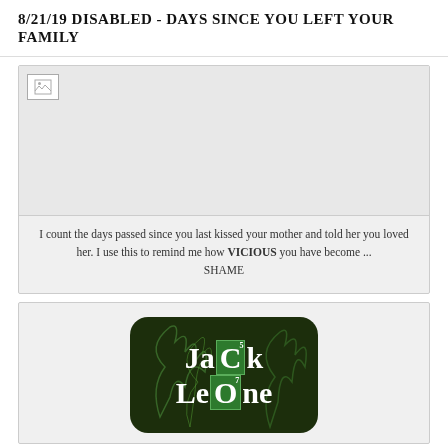8/21/19 DISABLED - DAYS SINCE YOU LEFT YOUR FAMILY
[Figure (screenshot): Broken/missing image placeholder (white box with small broken image icon in top-left corner) above a text block reading: I count the days passed since you last kissed your mother and told her you loved her. I use this to remind me how VICIOUS you have become ... SHAME]
I count the days passed since you last kissed your mother and told her you loved her. I use this to remind me how VICIOUS you have become ... SHAME
[Figure (logo): Breaking Bad style logo with dark green background and smoke, reading 'JaCk LeOne' with 'C' and 'O' in green element boxes with superscript numbers 5 and 7 respectively]